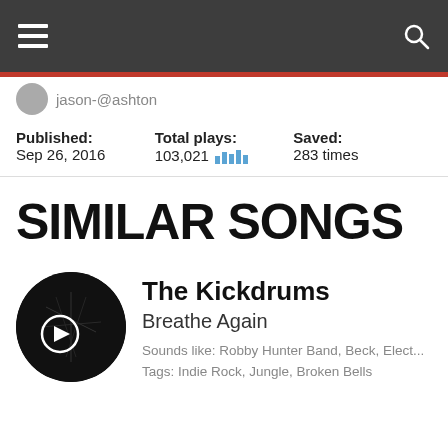Navigation bar with hamburger menu and search icon
jason-@ashton
Published: Sep 26, 2016
Total plays: 103,021
Saved: 283 times
SIMILAR SONGS
The Kickdrums
Breathe Again
Sounds like: Robby Hunter Band, Beck, Elect...
Tags: Indie Rock, Jungle, Broken Bells